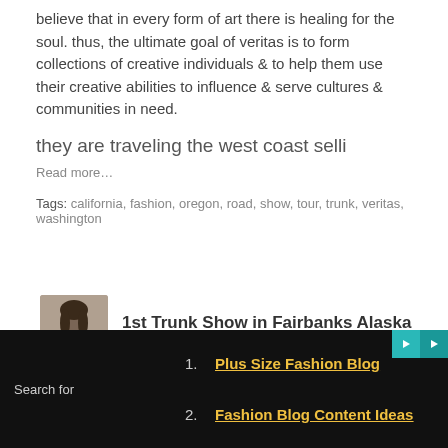believe that in every form of art there is healing for the soul. thus, the ultimate goal of veritas is to form collections of creative individuals & to help them use their creative abilities to influence & serve cultures & communities in need.
they are traveling the west coast selli
Read more…
Tags: california, fashion, oregon, road, show, tour, trunk, veritas, washington
1st Trunk Show in Fairbanks Alaska
Posted by Jenny Chang on July 15, 2009 at 6:12pm
[Figure (photo): Photo of a woman wearing a white spaghetti-strap top, cropped at neckline and chest]
Search for
1. Plus Size Fashion Blog
2. Fashion Blog Content Ideas